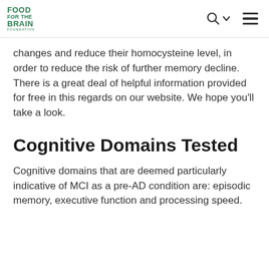FOOD FOR THE BRAIN FOUNDATION
changes and reduce their homocysteine level, in order to reduce the risk of further memory decline. There is a great deal of helpful information provided for free in this regards on our website. We hope you'll take a look.
Cognitive Domains Tested
Cognitive domains that are deemed particularly indicative of MCI as a pre-AD condition are: episodic memory, executive function and processing speed.